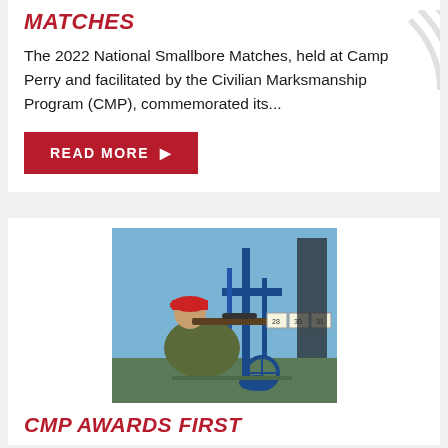MATCHES
The 2022 National Smallbore Matches, held at Camp Perry and facilitated by the Civilian Marksmanship Program (CMP), commemorated its...
READ MORE ▶
[Figure (photo): A person wearing a red cap and olive jacket aims a rifle with a scope while seated in a blue mechanical shooting rest or wheelchair-style support frame outdoors. Scoring boards are visible in the background.]
CMP AWARDS FIRST